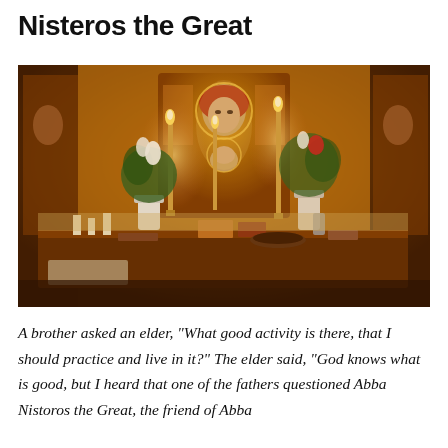Nisteros the Great
[Figure (photo): Photograph of an Orthodox Christian altar or shrine with lit candles, floral arrangements with white lilies and greenery in vases, a large icon of the Virgin Mary (Theotokos) with the Christ child in the center, surrounded by other religious icons and paintings on the walls. The altar table in the foreground holds various religious objects and offerings. The scene is warmly lit by candlelight.]
A brother asked an elder, “What good activity is there, that I should practice and live in it?” The elder said, “God knows what is good, but I heard that one of the fathers questioned Abba Nistoros the Great, the friend of Abba